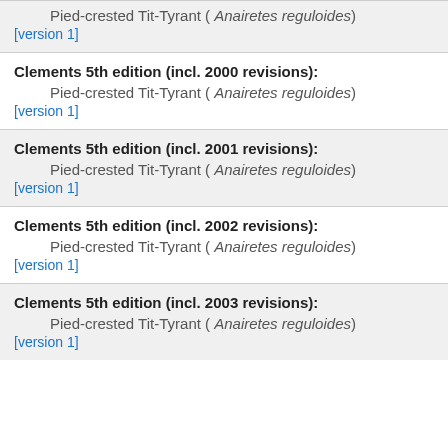Pied-crested Tit-Tyrant ( Anairetes reguloides)
[version 1]
Clements 5th edition (incl. 2000 revisions):
Pied-crested Tit-Tyrant ( Anairetes reguloides)
[version 1]
Clements 5th edition (incl. 2001 revisions):
Pied-crested Tit-Tyrant ( Anairetes reguloides)
[version 1]
Clements 5th edition (incl. 2002 revisions):
Pied-crested Tit-Tyrant ( Anairetes reguloides)
[version 1]
Clements 5th edition (incl. 2003 revisions):
Pied-crested Tit-Tyrant ( Anairetes reguloides)
[version 1]